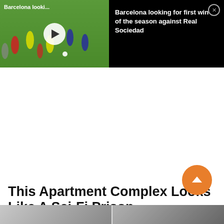[Figure (screenshot): Video thumbnail showing soccer/football players training on a field with a play button overlay, titled 'Barcelona looki...']
Barcelona looking for first win of the season against Real Sociedad
This Apartment Complex Looks Like A Sci-Fi Prison
[Figure (photo): Bottom strip showing two partial thumbnail images]